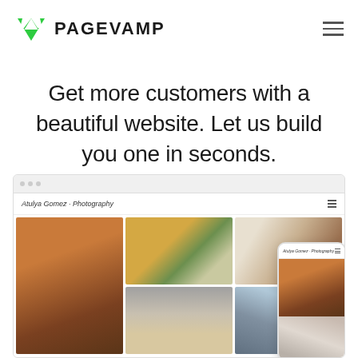[Figure (logo): PageVamp logo: green downward-pointing triangle/chevron icon followed by bold text 'PAGEVAMP']
Get more customers with a beautiful website. Let us build you one in seconds.
[Figure (screenshot): Screenshot of a photography portfolio website (Atulya Gomez - Photography) showing a photo grid with images of a building facade, a cocktail in a copper cup with mint, food/coffee overhead shots, books, a person in white, and a seascape. A mobile device overlay shows the same site in responsive view.]